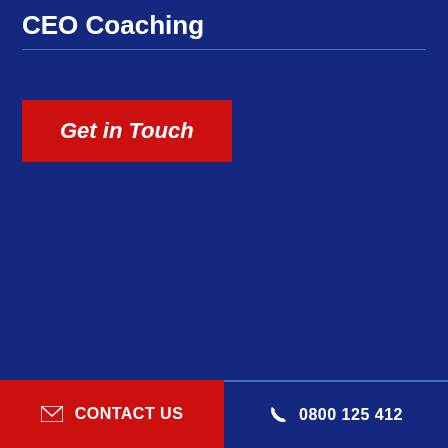CEO Coaching
Get in Touch
✉ CONTACT US   ✆ 0800 125 412